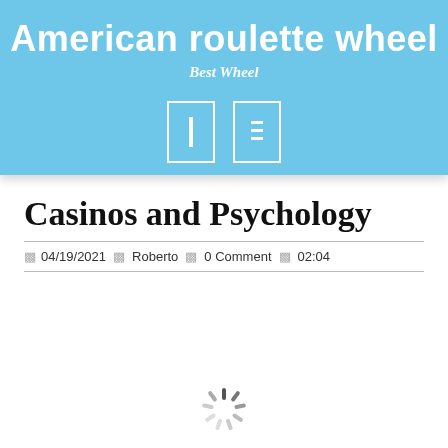American roulette wheel
Best Wheel
[Figure (illustration): Two white-outlined icon boxes (toggle/menu icons) on blue banner background]
Casinos and Psychology
04/19/2021   Roberto   0 Comment   02:04
[Figure (illustration): Loading spinner graphic at bottom of page]